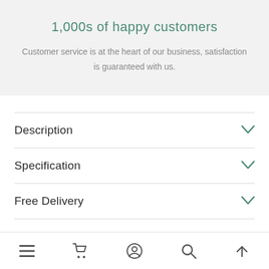1,000s of happy customers
Customer service is at the heart of our business, satisfaction is guaranteed with us.
Description
Specification
Free Delivery
Navigation bar with icons: menu, cart, account, search, scroll-to-top